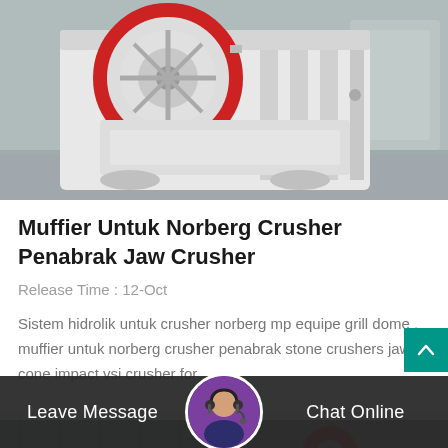[Figure (photo): White and red jaw crusher machine in an industrial facility]
Muffier Untuk Norberg Crusher Penabrak Jaw Crusher
Release Time : 12-Oct
Sistem hidrolik untuk crusher norberg mp equipe grill dome . muffier untuk norberg crusher penabrak stone crushers jaw cone impact vsi crusher for...
[Figure (photo): Industrial machinery photo — second article card partially visible]
Leave Message
Chat Online